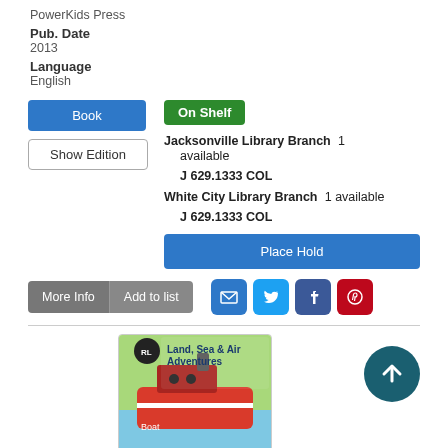PowerKids Press
Pub. Date
2013
Language
English
Book
Show Edition
On Shelf
Jacksonville Library Branch  1 available
J 629.1333 COL
White City Library Branch  1 available
J 629.1333 COL
Place Hold
More Info
Add to list
[Figure (screenshot): Book cover for Land, Sea & Air Adventures - Boat, showing a red tugboat on water with a green sky background]
[Figure (other): Scroll to top button - teal circle with upward arrow]